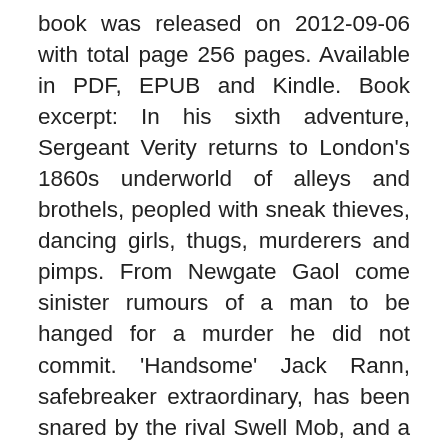book was released on 2012-09-06 with total page 256 pages. Available in PDF, EPUB and Kindle. Book excerpt: In his sixth adventure, Sergeant Verity returns to London's 1860s underworld of alleys and brothels, peopled with sneak thieves, dancing girls, thugs, murderers and pimps. From Newgate Gaol come sinister rumours of a man to be hanged for a murder he did not commit. 'Handsome' Jack Rann, safebreaker extraordinary, has been snared by the rival Swell Mob, and a corrupt policeman, 'Flash' Charley Fowler. To reach America and be lost for ever, Jack must escape the death-cell and pull off the robbery planned by his dead accomplice, Pandy Quinn. From Newgate prison to the stage of the Penny Gaff, from bank vaults under Cornhill to rotting sewers below Wapping and Shadwell, Rann flees - while Sergeant Verity